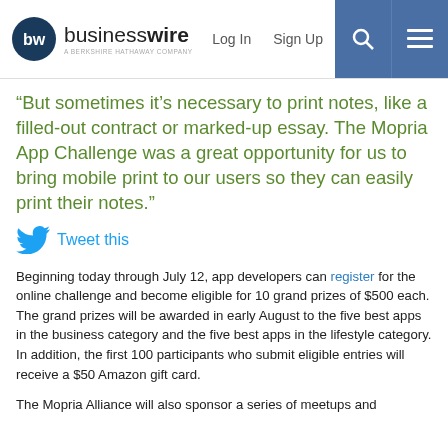businesswire — A Berkshire Hathaway Company | Log In | Sign Up
“But sometimes it’s necessary to print notes, like a filled-out contract or marked-up essay. The Mopria App Challenge was a great opportunity for us to bring mobile print to our users so they can easily print their notes.”
Tweet this
Beginning today through July 12, app developers can register for the online challenge and become eligible for 10 grand prizes of $500 each. The grand prizes will be awarded in early August to the five best apps in the business category and the five best apps in the lifestyle category. In addition, the first 100 participants who submit eligible entries will receive a $50 Amazon gift card.
The Mopria Alliance will also sponsor a series of meetups and